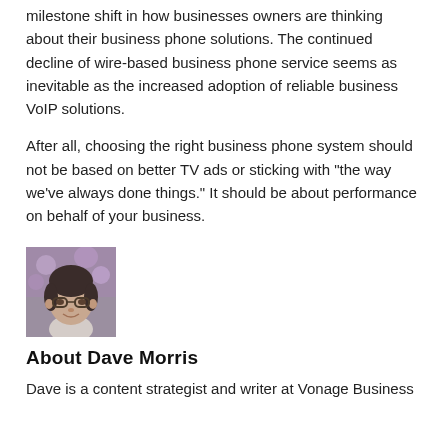milestone shift in how businesses owners are thinking about their business phone solutions. The continued decline of wire-based business phone service seems as inevitable as the increased adoption of reliable business VoIP solutions.
After all, choosing the right business phone system should not be based on better TV ads or sticking with “the way we’ve always done things.” It should be about performance on behalf of your business.
[Figure (photo): Headshot photo of Dave Morris, a man with glasses and short dark hair, smiling, wearing a light-colored shirt, with a purple floral background.]
About Dave Morris
Dave is a content strategist and writer at Vonage Business